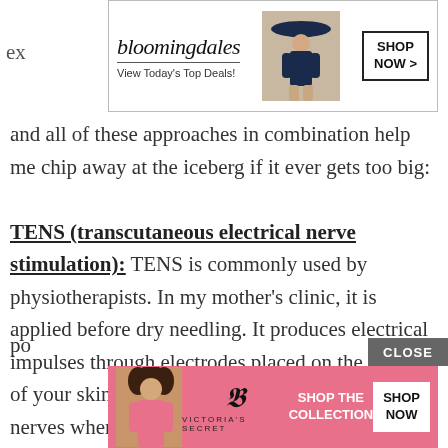[Figure (other): Bloomingdale's advertisement banner with woman in hat. Text: bloomingdales, View Today's Top Deals!, SHOP NOW >]
and all of these approaches in combination help me chip away at the iceberg if it ever gets too big:
TENS (transcutaneous electrical nerve stimulation): TENS is commonly used by physiotherapists. In my mother's clinic, it is applied before dry needling. It produces electrical impulses through electrodes placed on the surface of your skin. The electrodes are placed at or near nerves where the pain is located or at trigger po...
[Figure (other): Victoria's Secret advertisement banner with model. Text: SHOP THE COLLECTION, SHOP NOW. CLOSE button overlay.]